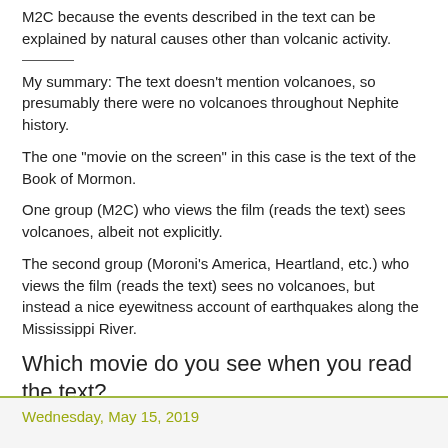M2C because the events described in the text can be explained by natural causes other than volcanic activity.
My summary: The text doesn't mention volcanoes, so presumably there were no volcanoes throughout Nephite history.
The one "movie on the screen" in this case is the text of the Book of Mormon.
One group (M2C) who views the film (reads the text) sees volcanoes, albeit not explicitly.
The second group (Moroni's America, Heartland, etc.) who views the film (reads the text) sees no volcanoes, but instead a nice eyewitness account of earthquakes along the Mississippi River.
Which movie do you see when you read the text?
jonathan3d at 9:14 PM    No comments:
Share
Wednesday, May 15, 2019